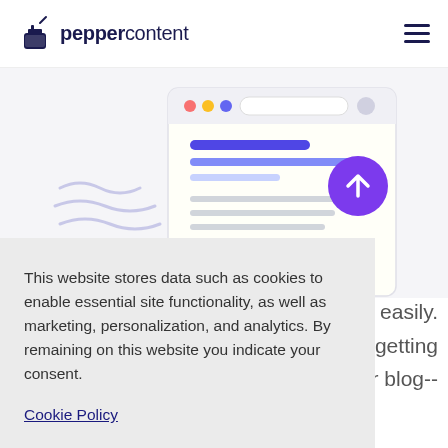peppercontent
[Figure (illustration): Browser/webpage mockup illustration showing a stylized web page with colored dots (red, yellow, blue), a URL bar, content placeholder bars in blue/purple/gray, and a purple circular upload/arrow button on the right side. Wavy decorative lines on the left.]
This website stores data such as cookies to enable essential site functionality, as well as marketing, personalization, and analytics. By remaining on this website you indicate your consent.
Cookie Policy
d easily.
e getting
or blog--